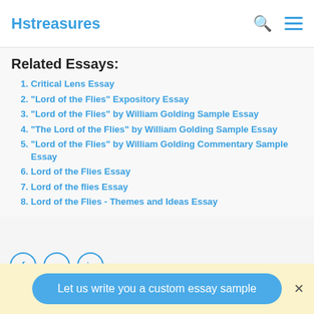Hstreasures
Related Essays:
Critical Lens Essay
"Lord of the Flies" Expository Essay
"Lord of the Flies" by William Golding Sample Essay
"The Lord of the Flies" by William Golding Sample Essay
"Lord of the Flies" by William Golding Commentary Sample Essay
Lord of the Flies Essay
Lord of the flies Essay
Lord of the Flies - Themes and Ideas Essay
Let us write you a custom essay sample